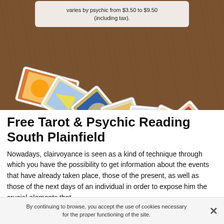[Figure (photo): Fan of colorful tarot cards spread out on a wooden surface, viewed from above. A partially visible white tooltip box at the top center reads text about pricing varying by psychic from $3.50 to $9.50 (including tax).]
varies by psychic from $3.50 to $9.50 (including tax).
Free Tarot & Psychic Reading South Plainfield
Nowadays, clairvoyance is seen as a kind of technique through which you have the possibility to get information about the events that have already taken place, those of the present, as well as those of the next days of an individual in order to expose him the crucial elements that
By continuing to browse, you accept the use of cookies necessary for the proper functioning of the site.